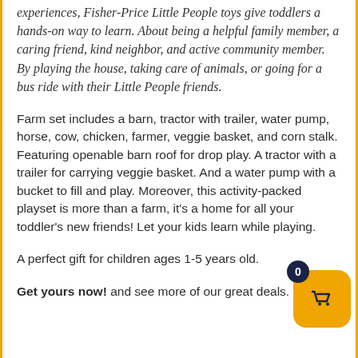experiences, Fisher-Price Little People toys give toddlers a hands-on way to learn. About being a helpful family member, a caring friend, kind neighbor, and active community member. By playing the house, taking care of animals, or going for a bus ride with their Little People friends.
Farm set includes a barn, tractor with trailer, water pump, horse, cow, chicken, farmer, veggie basket, and corn stalk. Featuring openable barn roof for drop play. A tractor with a trailer for carrying veggie basket. And a water pump with a bucket to fill and play. Moreover, this activity-packed playset is more than a farm, it’s a home for all your toddler’s new friends! Let your kids learn while playing.
A perfect gift for children ages 1-5 years old.
Get yours now! and see more of our great deals.